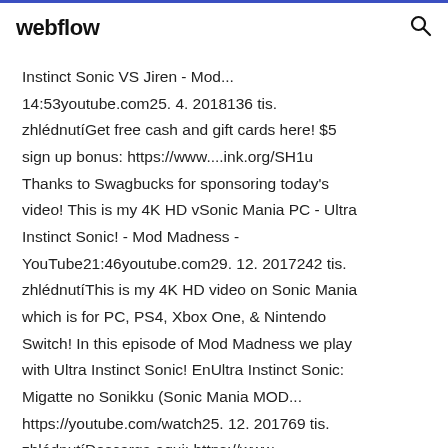webflow
Instinct Sonic VS Jiren - Mod... 14:53youtube.com25. 4. 2018136 tis. zhlédnutíGet free cash and gift cards here! $5 sign up bonus: https://www....ink.org/SH1u Thanks to Swagbucks for sponsoring today's video! This is my 4K HD vSonic Mania PC - Ultra Instinct Sonic! - Mod Madness - YouTube21:46youtube.com29. 12. 2017242 tis. zhlédnutíThis is my 4K HD video on Sonic Mania which is for PC, PS4, Xbox One, & Nintendo Switch! In this episode of Mod Madness we play with Ultra Instinct Sonic! EnUltra Instinct Sonic: Migatte no Sonikku (Sonic Mania MOD... https://youtube.com/watch25. 12. 201769 tis. zhlédnutíDescarga aqui: https://www